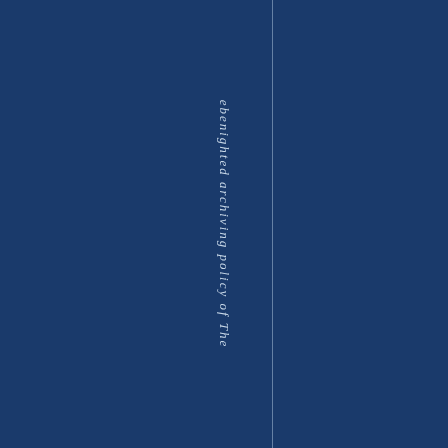[Figure (other): Dark navy blue background page with a thin vertical dividing line and rotated italic text reading 'ebenighted archiving policy of The' arranged vertically letter by letter from top to bottom in the center-right area of the page.]